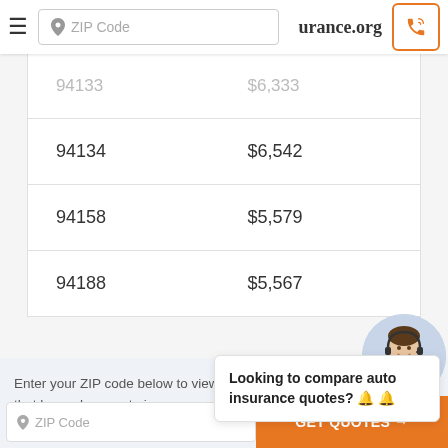ZIP Code | urance.org
| ZIP | Rate |
| --- | --- |
| 94133 | $6,333 |
| 94134 | $6,542 |
| 94158 | $5,579 |
| 94188 | $5,567 |
Looking to compare auto insurance quotes? 🔔 🔔
Enter your ZIP code below to view companies that have cheap auto insurance rates.
ZIP Code | GET QUOTES →